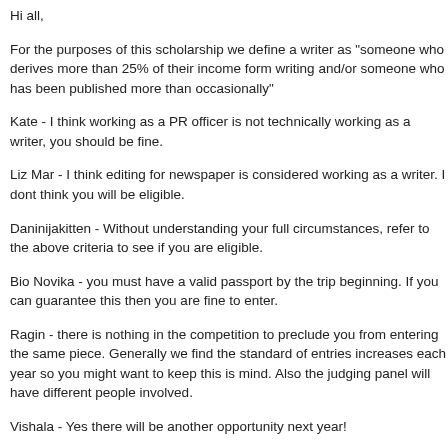Hi all,
For the purposes of this scholarship we define a writer as "someone who derives more than 25% of their income form writing and/or someone who has been published more than occasionally"
Kate - I think working as a PR officer is not technically working as a writer, you should be fine.
Liz Mar - I think editing for newspaper is considered working as a writer. I dont think you will be eligible.
Daninijakitten - Without understanding your full circumstances, refer to the above criteria to see if you are eligible.
Bio Novika - you must have a valid passport by the trip beginning. If you can guarantee this then you are fine to enter.
Ragin - there is nothing in the competition to preclude you from entering the same piece. Generally we find the standard of entries increases each year so you might want to keep this is mind. Also the judging panel will have different people involved.
Vishala - Yes there will be another opportunity next year!
scholarships  Mar 14, 2011 10:04 AM